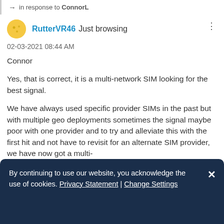→ in response to ConnorL
RutterVR46  Just browsing
02-03-2021 08:44 AM
Connor

Yes, that is correct, it is a multi-network SIM looking for the best signal.

We have always used specific provider SIMs in the past but with multiple geo deployments sometimes the signal maybe poor with one provider and to try and alleviate this with the first hit and not have to revisit for an alternate SIM provider, we have now got a multi-
By continuing to use our website, you acknowledge the use of cookies. Privacy Statement | Change Settings